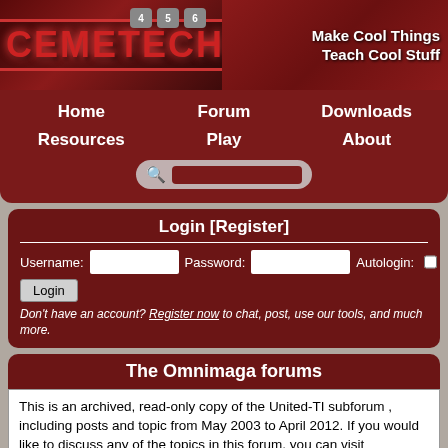[Figure (screenshot): Cemetech website banner with logo on dark red background and calculator imagery. Right side shows 'Make Cool Things Teach Cool Stuff' tagline.]
Home   Forum   Downloads   Resources   Play   About
Login [Register]
Username: [input] Password: [input] Autologin: [checkbox] Login Don't have an account? Register now to chat, post, use our tools, and much more.
The Omnimaga forums
This is an archived, read-only copy of the United-TI subforum , including posts and topic from May 2003 to April 2012. If you would like to discuss any of the topics in this forum, you can visit Cemetech's Technology & Calculator Open Topic subforum. Some of these topics may also be directly-linked to active Cemetech topics. If you are a Cemetech member with a linked United-TI account, you can link United-TI topics here with your current Cemetech topics.